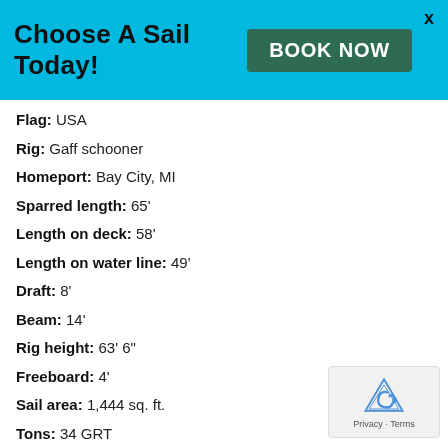Choose A Sail Today! BOOK NOW
Flag: USA
Rig: Gaff schooner
Homeport: Bay City, MI
Sparred length: 65'
Length on deck: 58'
Length on water line: 49'
Draft: 8'
Beam: 14'
Rig height: 63' 6"
Freeboard: 4'
Sail area: 1,444 sq. ft.
Tons: 34 GRT
Power: 90 HP diesel
Hull: Steel